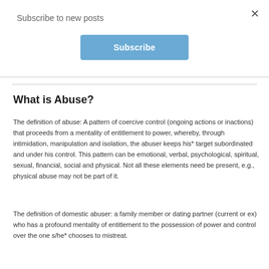Subscribe to new posts
Subscribe
What is Abuse?
The definition of abuse: A pattern of coercive control (ongoing actions or inactions) that proceeds from a mentality of entitlement to power, whereby, through intimidation, manipulation and isolation, the abuser keeps his* target subordinated and under his control. This pattern can be emotional, verbal, psychological, spiritual, sexual, financial, social and physical. Not all these elements need be present, e.g., physical abuse may not be part of it.
The definition of domestic abuser: a family member or dating partner (current or ex) who has a profound mentality of entitlement to the possession of power and control over the one s/he* chooses to mistreat.